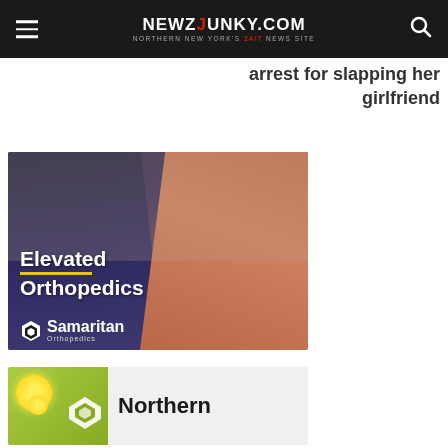NEWZJUNKY.COM — NORTHERN NEW YORK'S 24/7 NEWS SITE
arrest for slapping her girlfriend
[Figure (photo): Advertisement for Samaritan Orthopedics showing a doctor in a dark suit examining a patient in an orange blouse. Text reads 'Elevated Orthopedics' with a yellow underline and the Samaritan Orthopedics logo.]
[Figure (photo): Partial advertisement for Northern (organization), showing green background with yellow flowers and the Northern logo.]